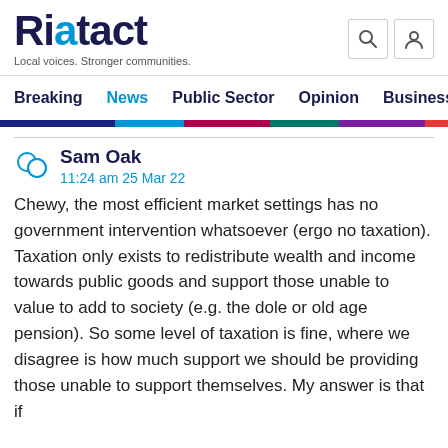Riotact — Local voices. Stronger communities.
Breaking  News  Public Sector  Opinion  Business
Sam Oak
11:24 am 25 Mar 22
Chewy, the most efficient market settings has no government intervention whatsoever (ergo no taxation). Taxation only exists to redistribute wealth and income towards public goods and support those unable to value to add to society (e.g. the dole or old age pension). So some level of taxation is fine, where we disagree is how much support we should be providing those unable to support themselves. My answer is that if...